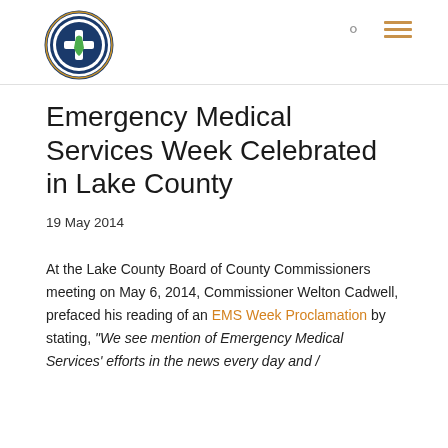EMS Logo and navigation header
Emergency Medical Services Week Celebrated in Lake County
19 May 2014
At the Lake County Board of County Commissioners meeting on May 6, 2014, Commissioner Welton Cadwell, prefaced his reading of an EMS Week Proclamation by stating, “We see mention of Emergency Medical Services’ efforts in the news every day and …